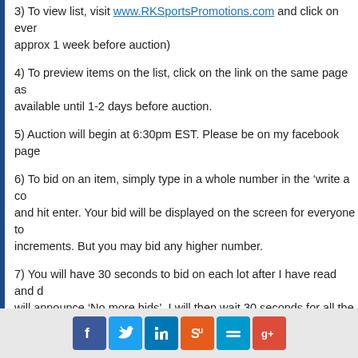3) To view list, visit www.RKSportsPromotions.com and click on ever approx 1 week before auction)
4) To preview items on the list, click on the link on the same page as available until 1-2 days before auction.
5) Auction will begin at 6:30pm EST. Please be on my facebook page
6) To bid on an item, simply type in a whole number in the ‘write a co and hit enter. Your bid will be displayed on the screen for everyone to increments. But you may bid any higher number.
7) You will have 30 seconds to bid on each lot after I have read and d will announce ‘No more bids’. I will then wait 30 seconds for all the bi then announce the highest bidder and proceed to the next lot.
8) After the auction is over you will receive an email (probably the ne charged to your credit card. A 10% buyers fee will be added to your t must be on file) a 4% buyers fee will be added to your total. You can Collectibles Store in Lebanon, NJ or we can have them shipped to yo email by 6pm (the day after the auction), your items will be shipped t charges will be added to your total.
[Figure (infographic): Social media share buttons: Facebook, Twitter, LinkedIn, StumbleUpon, Delicious, Google+]